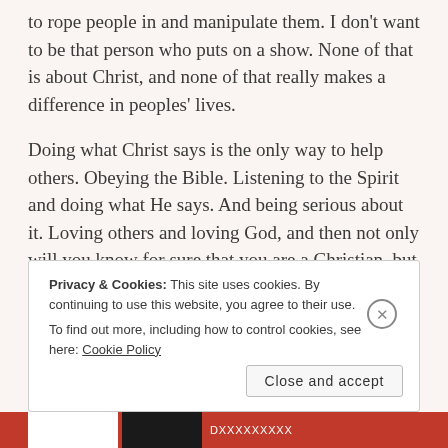to rope people in and manipulate them. I don't want to be that person who puts on a show. None of that is about Christ, and none of that really makes a difference in peoples' lives.
Doing what Christ says is the only way to help others. Obeying the Bible. Listening to the Spirit and doing what He says. And being serious about it. Loving others and loving God, and then not only will you know for sure that you are a Christian, but others will know too.
Privacy & Cookies: This site uses cookies. By continuing to use this website, you agree to their use. To find out more, including how to control cookies, see here: Cookie Policy
Close and accept